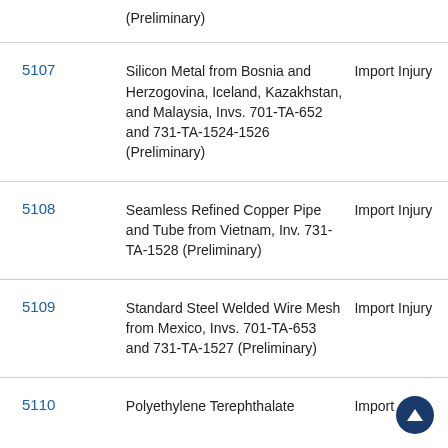| No. | Investigation | Type |
| --- | --- | --- |
|  | (Preliminary) |  |
| 5107 | Silicon Metal from Bosnia and Herzogovina, Iceland, Kazakhstan, and Malaysia, Invs. 701-TA-652 and 731-TA-1524-1526 (Preliminary) | Import Injury |
| 5108 | Seamless Refined Copper Pipe and Tube from Vietnam, Inv. 731-TA-1528 (Preliminary) | Import Injury |
| 5109 | Standard Steel Welded Wire Mesh from Mexico, Invs. 701-TA-653 and 731-TA-1527 (Preliminary) | Import Injury |
| 5110 | Polyethylene Terephthalate | Import |